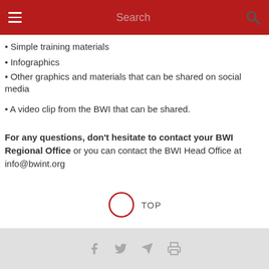Search
Simple training materials
Infographics
Other graphics and materials that can be shared on social media
A video clip from the BWI that can be shared.
For any questions, don't hesitate to contact your BWI Regional Office or you can contact the BWI Head Office at info@bwint.org
[Figure (other): Back to top button with circle arrow icon and text TOP]
Social share and print icons: Facebook, Twitter, Telegram, Print